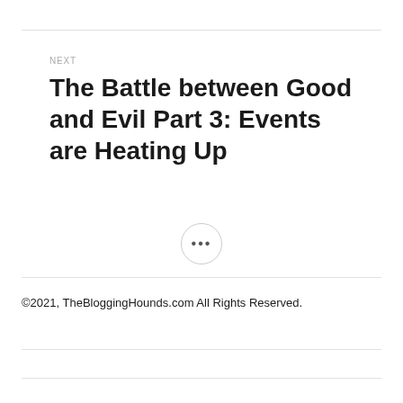NEXT
The Battle between Good and Evil Part 3: Events are Heating Up
©2021, TheBloggingHounds.com All Rights Reserved.